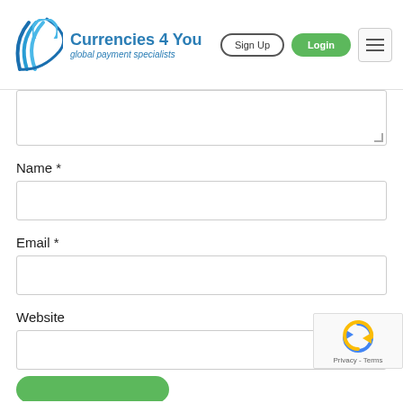[Figure (logo): Currencies 4 You logo with blue arc/wave graphic and text 'Currencies 4 You - global payment specialists']
Sign Up
Login
Name *
Email *
Website